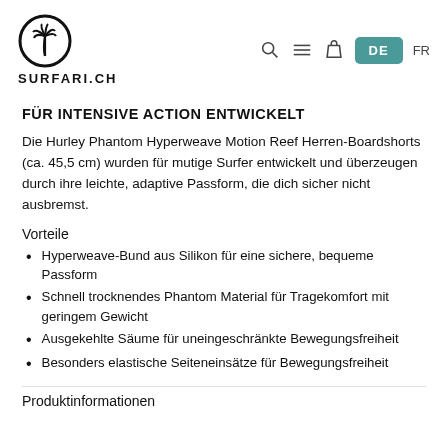SURFARI.CH
FÜR INTENSIVE ACTION ENTWICKELT
Die Hurley Phantom Hyperweave Motion Reef Herren-Boardshorts (ca. 45,5 cm) wurden für mutige Surfer entwickelt und überzeugen durch ihre leichte, adaptive Passform, die dich sicher nicht ausbremst.
Vorteile
Hyperweave-Bund aus Silikon für eine sichere, bequeme Passform
Schnell trocknendes Phantom Material für Tragekomfort mit geringem Gewicht
Ausgekehlte Säume für uneingeschränkte Bewegungsfreiheit
Besonders elastische Seiteneinsätze für Bewegungsfreiheit
Produktinformationen